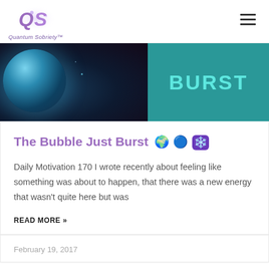Quantum Sobriety™
[Figure (photo): Hero banner image split into two halves: left side shows a dark space/galaxy scene with a glowing blue sphere, right side is teal/cyan background with the word BURST in large teal letters]
The Bubble Just Burst 🌍🔵✳️
Daily Motivation 170 I wrote recently about feeling like something was about to happen, that there was a new energy that wasn't quite here but was
READ MORE »
February 19, 2017